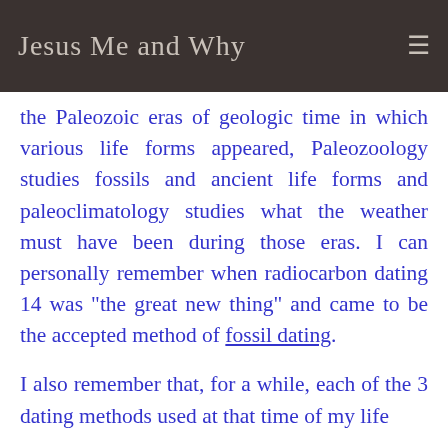Jesus Me and Why
the Paleozoic eras of geologic time in which various life forms appeared, Paleozoology studies fossils and ancient life forms and paleoclimatology studies what the weather must have been during those eras. I can personally remember when radiocarbon dating 14 was "the great new thing" and came to be the accepted method of fossil dating.
I also remember that, for a while, each of the 3 dating methods used at that time of my life